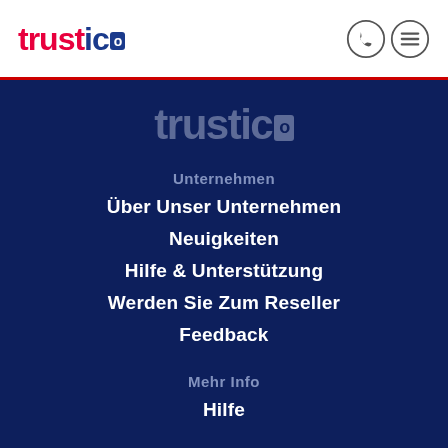[Figure (logo): Trustico logo in red and blue on white header bar]
[Figure (illustration): Phone and hamburger menu icons in circle outlines]
[Figure (logo): Trustico logo watermark in muted blue-grey on dark navy background]
Unternehmen
Über Unser Unternehmen
Neuigkeiten
Hilfe & Unterstützung
Werden Sie Zum Reseller
Feedback
Mehr Info
Hilfe